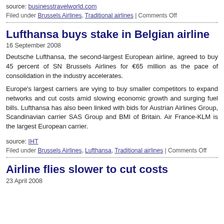source: businesstravelworld.com
Filed under Brussels Airlines, Traditional airlines | Comments Off
Lufthansa buys stake in Belgian airline
16 September 2008
Deutsche Lufthansa, the second-largest European airline, agreed to buy 45 percent of SN Brussels Airlines for €65 million as the pace of consolidation in the industry accelerates.
Europe's largest carriers are vying to buy smaller competitors to expand networks and cut costs amid slowing economic growth and surging fuel bills. Lufthansa has also been linked with bids for Austrian Airlines Group, Scandinavian carrier SAS Group and BMI of Britain. Air France-KLM is the largest European carrier.
source: IHT
Filed under Brussels Airlines, Lufthansa, Traditional airlines | Comments Off
Airline flies slower to cut costs
23 April 2008